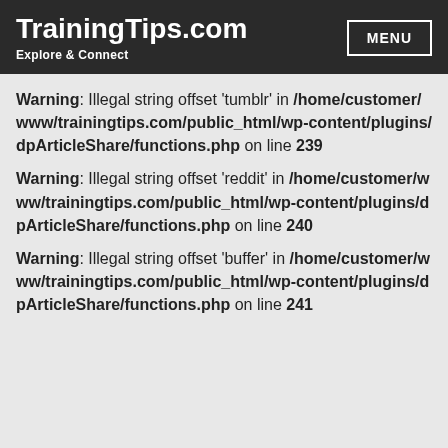TrainingTips.com — Explore & Connect
Warning: Illegal string offset 'tumblr' in /home/customer/www/trainingtips.com/public_html/wp-content/plugins/dpArticleShare/functions.php on line 239
Warning: Illegal string offset 'reddit' in /home/customer/www/trainingtips.com/public_html/wp-content/plugins/dpArticleShare/functions.php on line 240
Warning: Illegal string offset 'buffer' in /home/customer/www/trainingtips.com/public_html/wp-content/plugins/dpArticleShare/functions.php on line 241